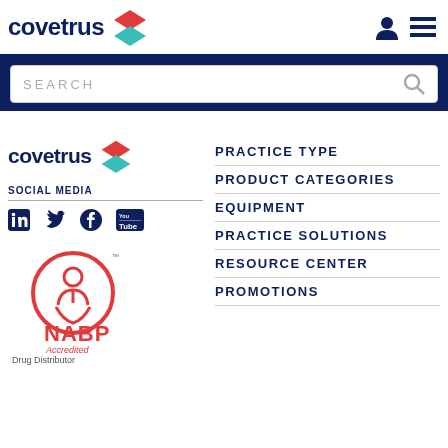[Figure (logo): Covetrus logo with red and teal diamond shapes and dark navy wordmark]
[Figure (screenshot): User account icon (person silhouette) and hamburger menu icon in dark navy]
[Figure (screenshot): Search bar with placeholder text SEARCH and magnifying glass icon on dark navy background]
[Figure (logo): Covetrus footer logo with red and teal diamond shapes and dark navy wordmark]
SOCIAL MEDIA
[Figure (illustration): Social media icons: LinkedIn, Twitter, Facebook, YouTube]
[Figure (logo): NABP Accredited Drug Distributor badge with red circle and figure icon]
PRACTICE TYPE
PRODUCT CATEGORIES
EQUIPMENT
PRACTICE SOLUTIONS
RESOURCE CENTER
PROMOTIONS